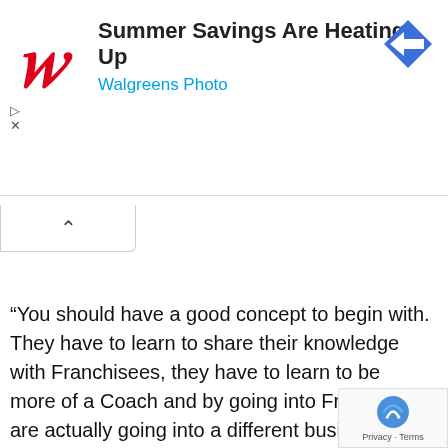[Figure (screenshot): Walgreens advertisement banner: Walgreens cursive W logo in red, headline 'Summer Savings Are Heating Up', subtext 'Walgreens Photo' in blue, blue diamond navigation icon on the right, play/close controls on the left side, and a collapse chevron button below.]
“You should have a good concept to begin with. They have to learn to share their knowledge with Franchisees, they have to learn to be more of a Coach and by going into Franchisi are actually going into a different business, namely fran the businessman who admired Ray Croc of McDo Franchise